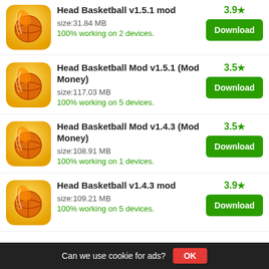Head Basketball v1.5.1 mod
size:31.84 MB
100% working on 2 devices.
Rating: 3.9
Head Basketball Mod v1.5.1 (Mod Money)
size:117.03 MB
100% working on 5 devices.
Rating: 3.5
Head Basketball Mod v1.4.3 (Mod Money)
size:108.91 MB
100% working on 1 devices.
Rating: 3.5
Head Basketball v1.4.3 mod
size:109.21 MB
100% working on 5 devices.
Rating: 3.9
Can we use cookie for ads?  OK